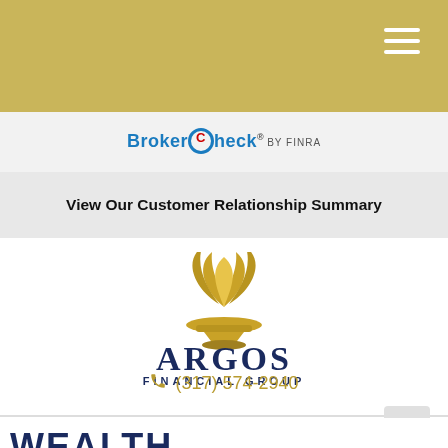[Figure (logo): Gold/olive colored header bar with hamburger menu icon (three white horizontal lines) in top right corner]
[Figure (logo): BrokerCheck by FINRA logo on light gray background bar]
View Our Customer Relationship Summary
[Figure (logo): Argos Financial Group logo — gold flame torch above dark navy blue text reading ARGOS FINANCIAL GROUP]
(317) 574-2940
WEALTH MANAGEMENT